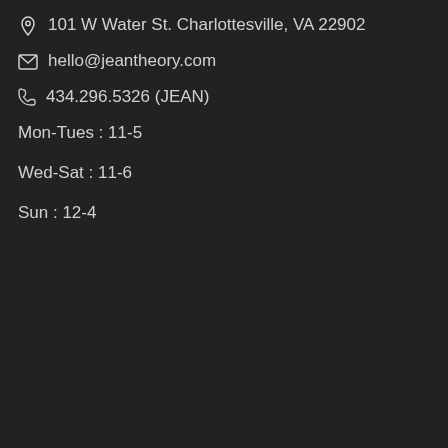101 W Water St. Charlottesville, VA 22902
hello@jeantheory.com
434.296.5326 (JEAN)
Mon-Tues : 11-5
Wed-Sat : 11-6
Sun : 12-4